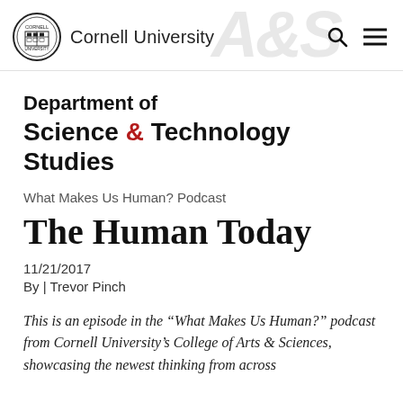Cornell University
Department of Science & Technology Studies
What Makes Us Human? Podcast
The Human Today
11/21/2017
By | Trevor Pinch
This is an episode in the “What Makes Us Human?” podcast from Cornell University’s College of Arts & Sciences, showcasing the newest thinking from across